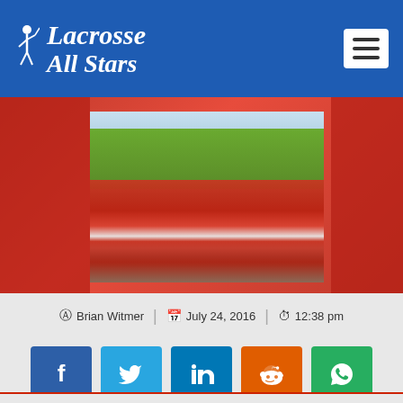[Figure (logo): Lacrosse All Stars logo with player silhouette and italic text on blue header background]
[Figure (photo): Lacrosse team huddle on a green field, players in red and white uniforms with helmets, coach in foreground wearing white, outdoor summer setting]
Brian Witmer | July 24, 2016 | 12:38 pm
[Figure (infographic): Social share buttons: Facebook, Twitter, LinkedIn, Reddit, WhatsApp]